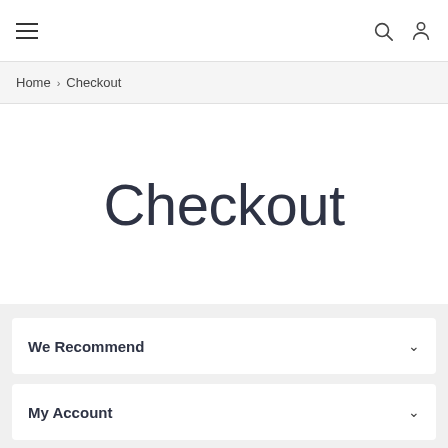≡  [search] [user]
Home > Checkout
Checkout
We Recommend
My Account
Customer Care